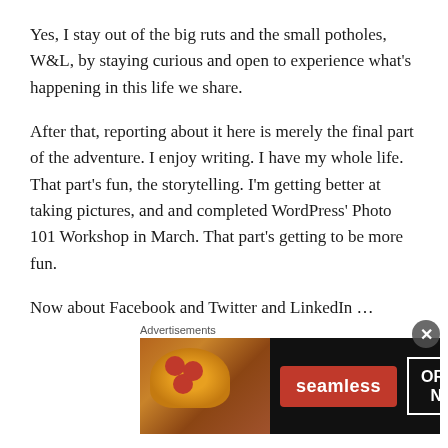Yes, I stay out of the big ruts and the small potholes, W&L, by staying curious and open to experience what's happening in this life we share.
After that, reporting about it here is merely the final part of the adventure. I enjoy writing. I have my whole life. That part's fun, the storytelling. I'm getting better at taking pictures, and and completed WordPress' Photo 101 Workshop in March. That part's getting to be more fun.
Now about Facebook and Twitter and LinkedIn …
I make a component of my morning routine because I want to alert the followers and friends I've gained on those
Advertisements
[Figure (photo): Seamless food delivery advertisement showing pizza slices with Seamless logo and ORDER NOW button on dark background]